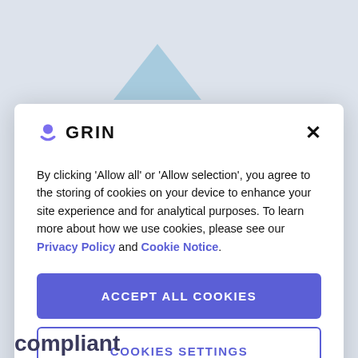[Figure (logo): GRIN logo with purple icon and bold text]
By clicking 'Allow all' or 'Allow selection', you agree to the storing of cookies on your device to enhance your site experience and for analytical purposes. To learn more about how we use cookies, please see our Privacy Policy and Cookie Notice.
ACCEPT ALL COOKIES
COOKIES SETTINGS
compliant